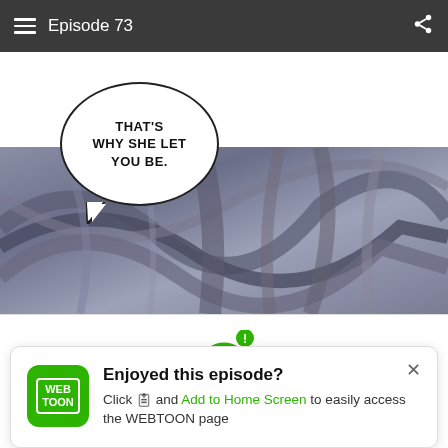Episode 73
[Figure (illustration): Webtoon comic panel showing a speech bubble with text 'THAT'S WHY SHE LET YOU BE.' overlaid on anime-style illustration of dark flowing elements with purple/grey tones]
[Figure (infographic): WiFi icon with exclamation mark notification badge in green color, indicating a network notification]
Enjoyed this episode?
Click and Add to Home Screen to easily access the WEBTOON page